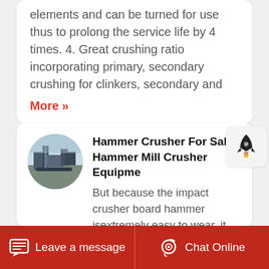elements and can be turned for use thus to prolong the service life by 4 times. 4. Great crushing ratio incorporating primary, secondary crushing for clinkers, secondary and
More »
[Figure (photo): Circular thumbnail photo of a hammer crusher / industrial machinery at a facility, blue-sky background.]
Hammer Crusher For Sale Hammer Mill Crusher Equipme
But because the impact crusher board hammer isextremely easy to wear, it also is restricted in the hard material staveapplication. Impact crusher is usually used to break
Leave a message   Chat Online